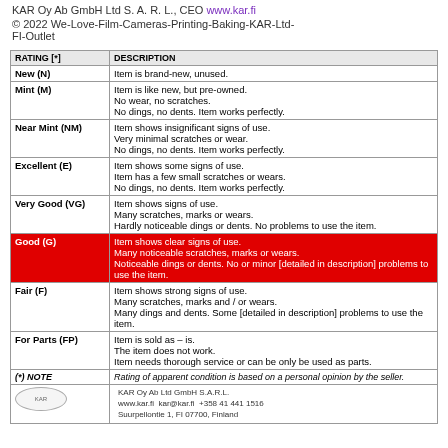KAR Oy Ab GmbH Ltd S. A. R. L., CEO www.kar.fi
© 2022 We-Love-Film-Cameras-Printing-Baking-KAR-Ltd-FI-Outlet
| RATING [*] | DESCRIPTION |
| --- | --- |
| New (N) | Item is brand-new, unused. |
| Mint (M) | Item is like new, but pre-owned.
No wear, no scratches.
No dings, no dents. Item works perfectly. |
| Near Mint (NM) | Item shows insignificant signs of use.
Very minimal scratches or wear.
No dings, no dents. Item works perfectly. |
| Excellent (E) | Item shows some signs of use.
Item has a few small scratches or wears.
No dings, no dents. Item works perfectly. |
| Very Good (VG) | Item shows signs of use.
Many scratches, marks or wears.
Hardly noticeable dings or dents. No problems to use the item. |
| Good (G) | Item shows clear signs of use.
Many noticeable scratches, marks or wears.
Noticeable dings or dents. No or minor [detailed in description] problems to use the item. |
| Fair (F) | Item shows strong signs of use.
Many scratches, marks and / or wears.
Many dings and dents. Some [detailed in description] problems to use the item. |
| For Parts (FP) | Item is sold as – is.
The item does not work.
Item needs thorough service or can be only be used as parts. |
| (*) NOTE | Rating of apparent condition is based on a personal opinion by the seller. |